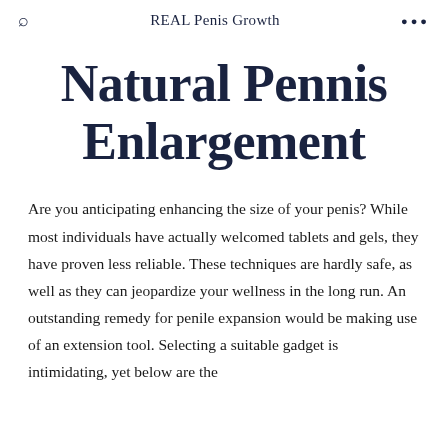REAL Penis Growth
Natural Pennis Enlargement
Are you anticipating enhancing the size of your penis? While most individuals have actually welcomed tablets and gels, they have proven less reliable. These techniques are hardly safe, as well as they can jeopardize your wellness in the long run. An outstanding remedy for penile expansion would be making use of an extension tool. Selecting a suitable gadget is intimidating, yet below are the